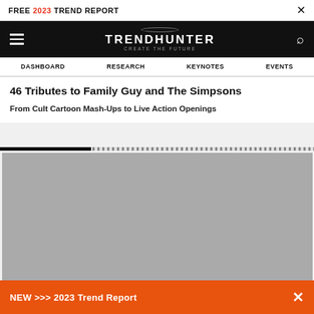FREE 2023 TREND REPORT
[Figure (logo): TRENDHUNTER CREATE THE FUTURE logo on black navigation bar with hamburger menu and search icon]
DASHBOARD   RESEARCH   KEYNOTES   EVENTS
46 Tributes to Family Guy and The Simpsons
From Cult Cartoon Mash-Ups to Live Action Openings
[Figure (photo): Large gray placeholder image area]
NEW >>> 2023 Trend Report